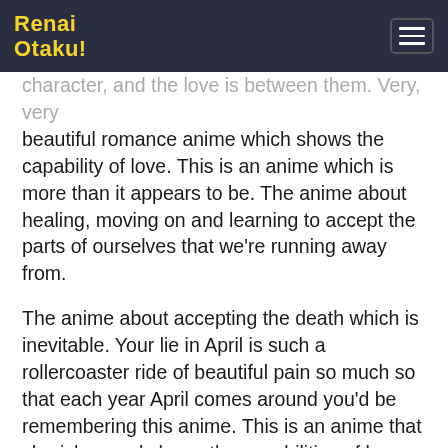Renai Otaku!
character, and the love is between them. Very, very beautiful romance anime which shows the capability of love. This is an anime which is more than it appears to be. The anime about healing, moving on and learning to accept the parts of ourselves that we're running away from.
The anime about accepting the death which is inevitable. Your lie in April is such a rollercoaster ride of beautiful pain so much so that each year April comes around you'd be remembering this anime. This is an anime that cherishes and shows the capabilities of love and music, definitely, a must-watch for music lovers.